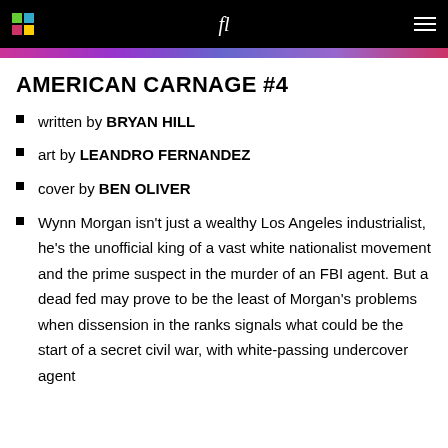AMERICAN CARNAGE #4
written by BRYAN HILL
art by LEANDRO FERNANDEZ
cover by BEN OLIVER
Wynn Morgan isn't just a wealthy Los Angeles industrialist, he's the unofficial king of a vast white nationalist movement and the prime suspect in the murder of an FBI agent. But a dead fed may prove to be the least of Morgan's problems when dissension in the ranks signals what could be the start of a secret civil war, with white-passing undercover agent